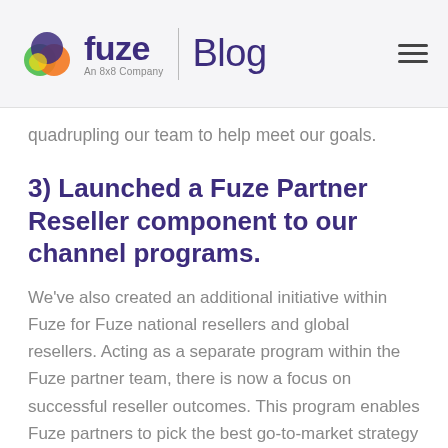fuze Blog — An 8x8 Company
quadrupling our team to help meet our goals.
3) Launched a Fuze Partner Reseller component to our channel programs.
We've also created an additional initiative within Fuze for Fuze national resellers and global resellers. Acting as a separate program within the Fuze partner team, there is now a focus on successful reseller outcomes. This program enables Fuze partners to pick the best go-to-market strategy based on their unique customer needs, ensuring our partners drive value to their customers across all of Fuze's offerings.